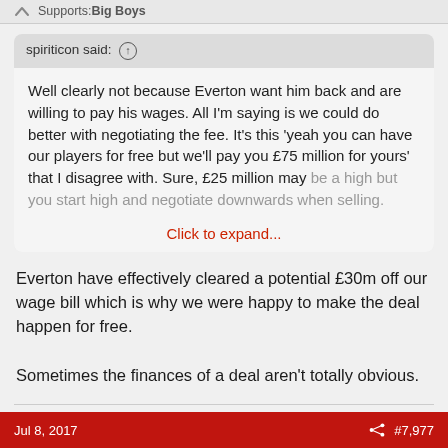Supports: Big Boys
spiriticon said: ↑

Well clearly not because Everton want him back and are willing to pay his wages. All I'm saying is we could do better with negotiating the fee. It's this 'yeah you can have our players for free but we'll pay you £75 million for yours' that I disagree with. Sure, £25 million may be a high but you start high and negotiate downwards when selling.

Click to expand...
Everton have effectively cleared a potential £30m off our wage bill which is why we were happy to make the deal happen for free.

Sometimes the finances of a deal aren't totally obvious.
Jul 8, 2017   #7,977